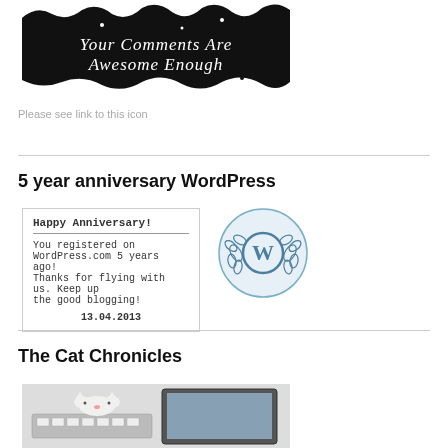[Figure (illustration): Black and white image with handwritten text: 'Your Comments Are Awesome Enough']
Please see link to this icon
5 year anniversary WordPress
[Figure (screenshot): WordPress Happy Anniversary card showing text: Happy Anniversary! You registered on WordPress.com 5 years ago! Thanks for flying with us. Keep up the good blogging! 13.04.2013, with WordPress 5-year anniversary badge/logo]
The Cat Chronicles
[Figure (photo): Photo of a white cat near a keyboard/laptop]